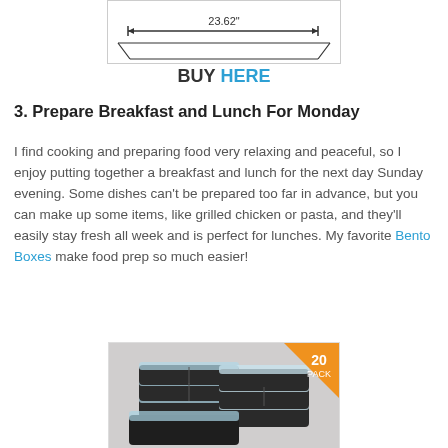[Figure (schematic): Partial product dimension diagram showing 23.62 inch measurement arrow]
BUY HERE
3. Prepare Breakfast and Lunch For Monday
I find cooking and preparing food very relaxing and peaceful, so I enjoy putting together a breakfast and lunch for the next day Sunday evening. Some dishes can’t be prepared too far in advance, but you can make up some items, like grilled chicken or pasta, and they’ll easily stay fresh all week and is perfect for lunches. My favorite Bento Boxes make food prep so much easier!
[Figure (photo): Stack of black bento boxes with clear lids, 20 pack badge in orange corner]